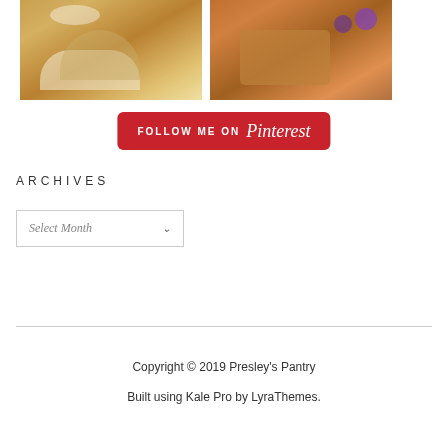[Figure (photo): Two food photos side by side: left shows a baked pastry with white topping, right shows a stack of pancakes with blueberries]
[Figure (infographic): Red Pinterest follow button reading FOLLOW ME ON Pinterest]
ARCHIVES
Select Month
Copyright © 2019 Presley's Pantry
Built using Kale Pro by LyraThemes.